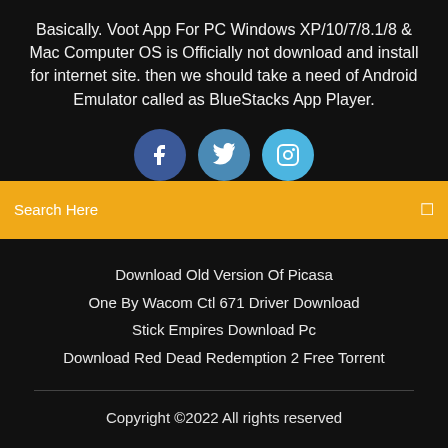Basically. Voot App For PC Windows XP/10/7/8.1/8 & Mac Computer OS is Officially not download and install for internet site. then we should take a need of Android Emulator called as BlueStacks App Player.
[Figure (illustration): Three social media icon circles: Facebook (dark blue), Twitter (medium blue), Instagram (light blue), partially cut off at bottom]
Search Here
Download Old Version Of Picasa
One By Wacom Ctl 671 Driver Download
Stick Empires Download Pc
Download Red Dead Redemption 2 Free Torrent
Copyright ©2022 All rights reserved